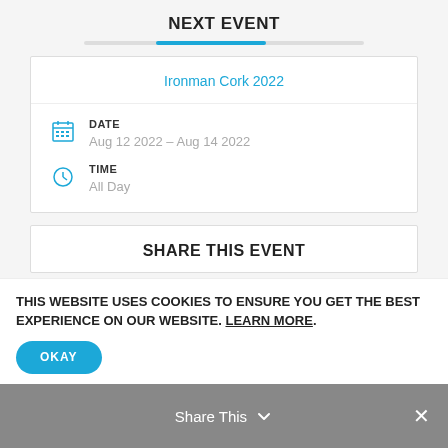NEXT EVENT
Ironman Cork 2022
DATE
Aug 12 2022 – Aug 14 2022
TIME
All Day
SHARE THIS EVENT
THIS WEBSITE USES COOKIES TO ENSURE YOU GET THE BEST EXPERIENCE ON OUR WEBSITE. LEARN MORE.
OKAY
Share This ×